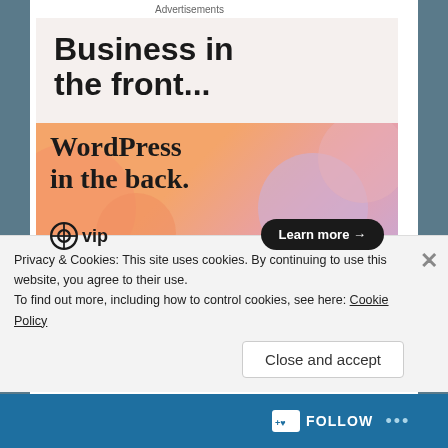Advertisements
[Figure (illustration): WordPress VIP advertisement. Top section on light beige background: 'Business in the front...' in large black bold text. Bottom section with orange/pink/purple gradient background: 'WordPress in the back.' in large serif bold text, WordPress VIP logo on bottom left, 'Learn more →' button in black rounded pill on bottom right.]
hits
REPORT THIS AD
January 11, 2020   0
Privacy & Cookies: This site uses cookies. By continuing to use this website, you agree to their use.
To find out more, including how to control cookies, see here: Cookie Policy
Close and accept
FOLLOW